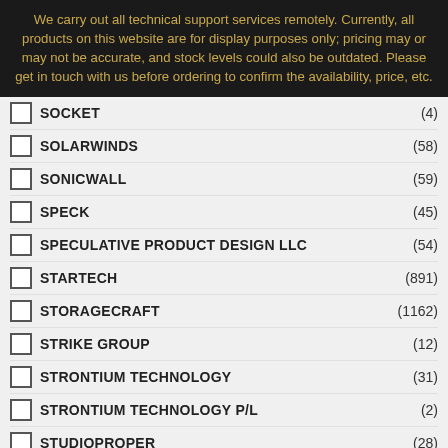We carry out all technical support services remotely. Currently, all products on this website are for display purposes only; pricing may or may not be accurate, and stock levels could also be outdated. Please get in touch with us before ordering to confirm the availability, price, etc.
SOCKET (4)
SOLARWINDS (58)
SONICWALL (59)
SPECK (45)
SPECULATIVE PRODUCT DESIGN LLC (54)
STARTECH (891)
STORAGECRAFT (1162)
STRIKE GROUP (12)
STRONTIUM TECHNOLOGY (31)
STRONTIUM TECHNOLOGY P/L (2)
STUDIOPROPER (28)
SYMANTEC (9)
SYNOLOGY
TAGA
TANDBERG (3)